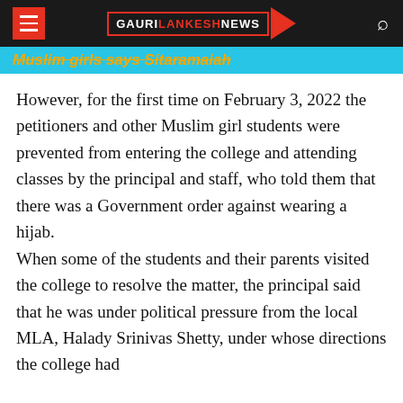GAURI LANKESH NEWS
Muslim girls says Sitaramaiah
However, for the first time on February 3, 2022 the petitioners and other Muslim girl students were prevented from entering the college and attending classes by the principal and staff, who told them that there was a Government order against wearing a hijab. When some of the students and their parents visited the college to resolve the matter, the principal said that he was under political pressure from the local MLA, Halady Srinivas Shetty, under whose directions the college had